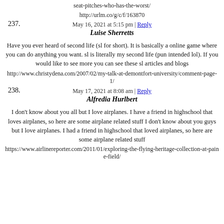seat-pitches-who-has-the-worst/
http://urlm.co/g/c/f/163870
May 16, 2021 at 5:15 pm | Reply
237.
Luise Sherretts
Have you ever heard of second life (sl for short). It is basically a online game where you can do anything you want. sl is literally my second life (pun intended lol). If you would like to see more you can see these sl articles and blogs
http://www.christydena.com/2007/02/my-talk-at-demontfort-university/comment-page-1/
May 17, 2021 at 8:08 am | Reply
238.
Alfredia Hurlbert
I don't know about you all but I love airplanes. I have a friend in highschool that loves airplanes, so here are some airplane related stuff I don't know about you guys but I love airplanes. I had a friend in highschool that loved airplanes, so here are some airplane related stuff
https://www.airlinereporter.com/2011/01/exploring-the-flying-heritage-collection-at-paine-field/